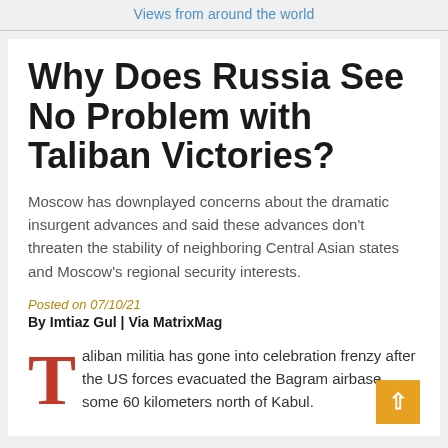Views from around the world
Why Does Russia See No Problem with Taliban Victories?
Moscow has downplayed concerns about the dramatic insurgent advances and said these advances don't threaten the stability of neighboring Central Asian states and Moscow's regional security interests.
Posted on 07/10/21
By Imtiaz Gul | Via MatrixMag
Taliban militia has gone into celebration frenzy after the US forces evacuated the Bagram airbase, some 60 kilometers north of Kabul.